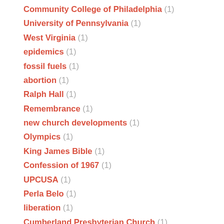Community College of Philadelphia (1)
University of Pennsylvania (1)
West Virginia (1)
epidemics (1)
fossil fuels (1)
abortion (1)
Ralph Hall (1)
Remembrance (1)
new church developments (1)
Olympics (1)
King James Bible (1)
Confession of 1967 (1)
UPCUSA (1)
Perla Belo (1)
liberation (1)
Cumberland Presbyterian Church (1)
Why I Give (1)
Divestment (1)
Erasmus (1)